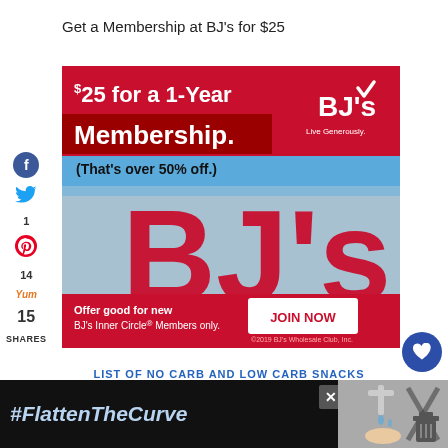Get a Membership at BJ’s for $25
[Figure (illustration): BJ's Wholesale Club advertisement: $25 for a 1-Year Membership (That's over 50% off.) with JOIN NOW button. Offer good for new BJ's Inner Circle Members only.]
LIST OF NO CARB AND LOW CARB SNACKS
[Figure (photo): #FlattenTheCurve banner advertisement showing hand washing]